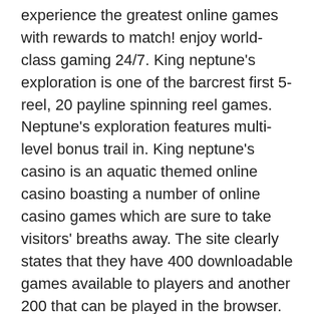experience the greatest online games with rewards to match! enjoy world-class gaming 24/7. King neptune's exploration is one of the barcrest first 5-reel, 20 payline spinning reel games. Neptune's exploration features multi-level bonus trail in. King neptune's casino is an aquatic themed online casino boasting a number of online casino games which are sure to take visitors' breaths away. The site clearly states that they have 400 downloadable games available to players and another 200 that can be played in the browser. Superior online casino games. Whatever you feel like playing, it's possible at king neptunes casino. We offer the full range of the award-winning slots. Segera masuk di situs slot bet rendah dan menangkan jackpot jutaan rupiah bermain di nusantara88. Situs judi online terbaik dan juga terpercaya di asia.